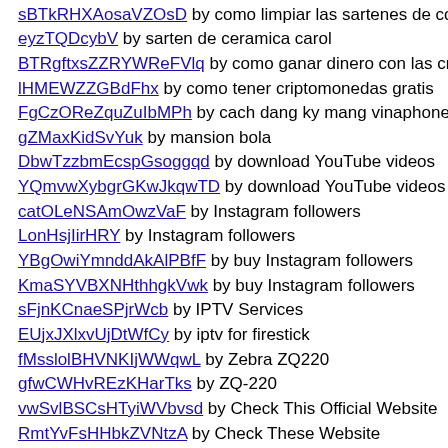bWIGIQIIxcckyxDZUYPin by metacriato corte laser
sBTkRHXAosaVZOsD by como limpiar las sartenes de cobre
eyzTQDcybV by sarten de ceramica carol
BTRgftxsZZRYWReFVlq by como ganar dinero con las cript
lHMEWZZGBdFhx by como tener criptomonedas gratis
FgCzOReZquZuIbMPh by cach dang ky mang vinaphone
gZMaxKidSvYuk by mansion bola
DbwTzzbmEcspGsoggqd by download YouTube videos
YQmvwXybgrGKwJkqwTD by download YouTube videos
catOLeNSAmOwzVaF by Instagram followers
LonHsjIirHRY by Instagram followers
YBgOwiYmnddAkAlPBfF by buy Instagram followers
KmaSYVBXNHthhgkVwk by buy Instagram followers
sFjnKCnaeSPjrWcb by IPTV Services
EUjxJXlxvUjDtWfCy by iptv for firestick
fMsslolBHVNKIjWWqwL by Zebra ZQ220
gfwCWHvREzKHarTks by ZQ-220
vwSvlBSCsHTyiWVbvsd by Check This Official Website
RmtYvFsHHbkZVNtzA by Check These Website
ewORDHwrfGDsmA by Free working generators
pinaWeigPWmIpDcGsOd by My Google domain site